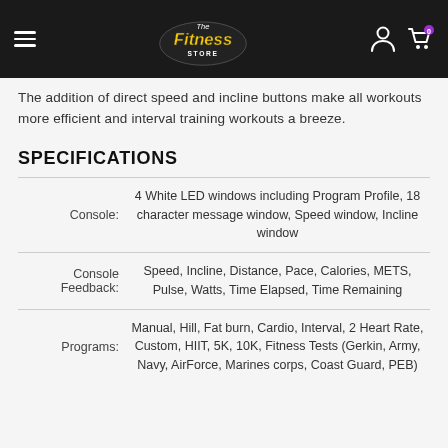The Fitness Store — navigation header
The addition of direct speed and incline buttons make all workouts more efficient and interval training workouts a breeze.
SPECIFICATIONS
|  |  |
| --- | --- |
| Console: | 4 White LED windows including Program Profile, 18 character message window, Speed window, Incline window |
| Console Feedback: | Speed, Incline, Distance, Pace, Calories, METS, Pulse, Watts, Time Elapsed, Time Remaining |
| Programs: | Manual, Hill, Fat burn, Cardio, Interval, 2 Heart Rate, Custom, HIIT, 5K, 10K, Fitness Tests (Gerkin, Army, Navy, AirForce, Marines corps, Coast Guard, PEB) |